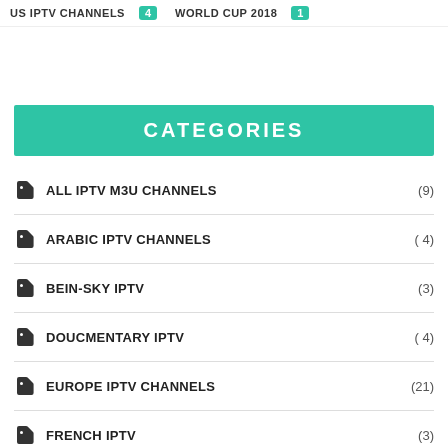US IPTV CHANNELS (4)   WORLD CUP 2018 (1)
CATEGORIES
ALL IPTV M3U CHANNELS (9)
ARABIC IPTV CHANNELS (4)
BEIN-SKY IPTV (3)
DOUCMENTARY IPTV (4)
EUROPE IPTV CHANNELS (21)
FRENCH IPTV (3)
GERMANY IPTV (4)